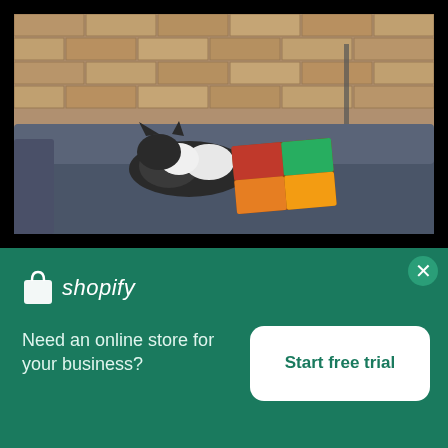[Figure (photo): A cat resting on a dark gray sofa with a colorful patchwork pillow, against a brick wall background]
Cute Cat Photo
High resolution download ↓
[Figure (photo): Partial preview of another photo below]
[Figure (logo): Shopify logo with shopping bag icon and italic shopify text]
Need an online store for your business?
Start free trial